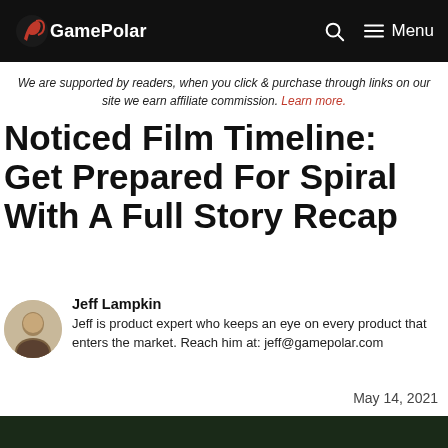GamePolar
We are supported by readers, when you click & purchase through links on our site we earn affiliate commission. Learn more.
Noticed Film Timeline: Get Prepared For Spiral With A Full Story Recap
Jeff Lampkin
Jeff is product expert who keeps an eye on every product that enters the market. Reach him at: jeff@gamepolar.com
May 14, 2021
[Figure (photo): Dark background image at bottom of page]